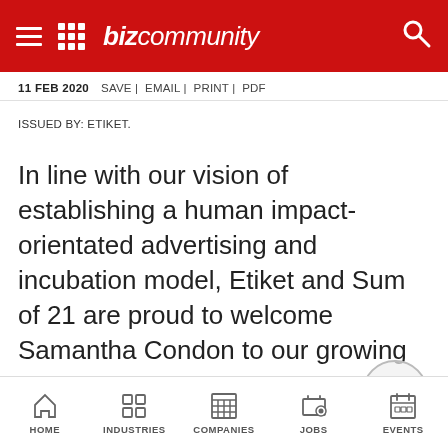BIZCOMMUNITY
11 FEB 2020  SAVE | EMAIL | PRINT | PDF
ISSUED BY: ETIKET.
In line with our vision of establishing a human impact-orientated advertising and incubation model, Etiket and Sum of 21 are proud to welcome Samantha Condon to our growing family.
HOME  INDUSTRIES  COMPANIES  JOBS  EVENTS